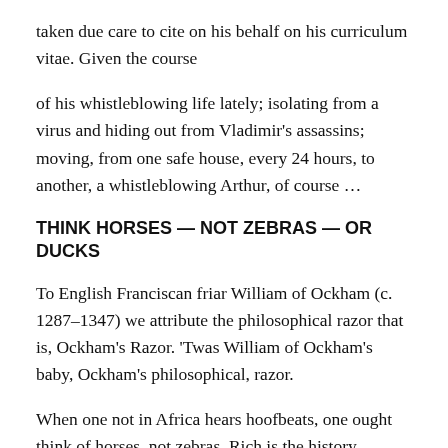taken due care to cite on his behalf on his curriculum vitae. Given the course
of his whistleblowing life lately; isolating from a virus and hiding out from Vladimir's assassins; moving, from one safe house, every 24 hours, to another, a whistleblowing Arthur, of course …
THINK HORSES — NOT ZEBRAS — OR DUCKS
To English Franciscan friar William of Ockham (c. 1287–1347) we attribute the philosophical razor that is, Ockham's Razor. 'Twas William of Ockham's baby, Ockham's philosophical, razor.
When one not in Africa hears hoofbeats, one ought think of horses, not zebras. Rich is the history underpinning the Principle of Parsimony also known as — Ockham's or